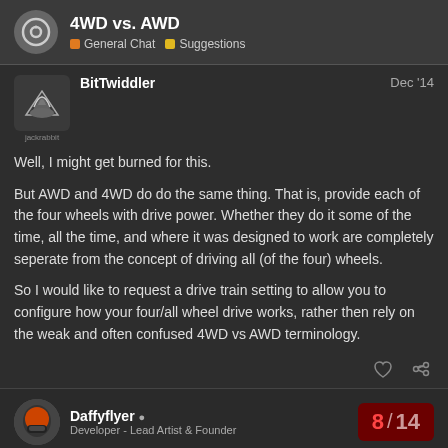4WD vs. AWD — General Chat | Suggestions
BitTwiddler  Dec '14
Well, I might get burned for this.
But AWD and 4WD do do the same thing. That is, provide each of the four wheels with drive power. Whether they do it some of the time, all the time, and where it was designed to work are completely seperate from the concept of driving all (of the four) wheels.
So I would like to request a drive train setting to allow you to configure how your four/all wheel drive works, rather then rely on the weak and often confused 4WD vs AWD terminology.
Daffyflyer  Developer - Lead Artist & Founder  8 / 14